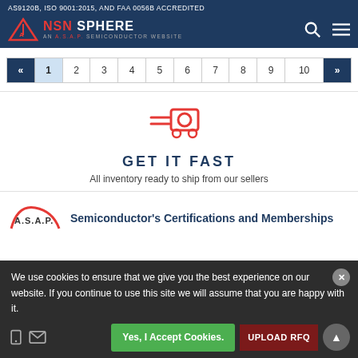AS9120B, ISO 9001:2015, AND FAA 0056B ACCREDITED
[Figure (logo): NSN Sphere logo with ASAP Semiconductor tagline, search and menu icons]
« 1 2 3 4 5 6 7 8 9 10 »
[Figure (illustration): Red shopping cart / delivery icon]
GET IT FAST
All inventory ready to ship from our sellers
[Figure (logo): A.S.A.P. Semiconductor logo]
Semiconductor's Certifications and Memberships
We use cookies to ensure that we give you the best experience on our website. If you continue to use this site we will assume that you are happy with it.